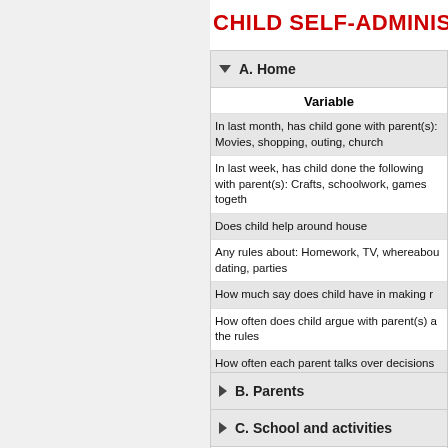CHILD SELF-ADMINISTERED
A. Home
Variable
In last month, has child gone with parent(s): Movies, shopping, outing, church
In last week, has child done the following with parent(s): Crafts, schoolwork, games together
Does child help around house
Any rules about: Homework, TV, whereabouts, dating, parties
How much say does child have in making rules
How often does child argue with parent(s) about the rules
How often each parent talks over decisions to child's side
Who usually decides about: Buying clothes, spending money, friends, curfew, allowance, religious training
B. Parents
C. School and activities
D. Employment (Interviewer-administered)
E. Religion